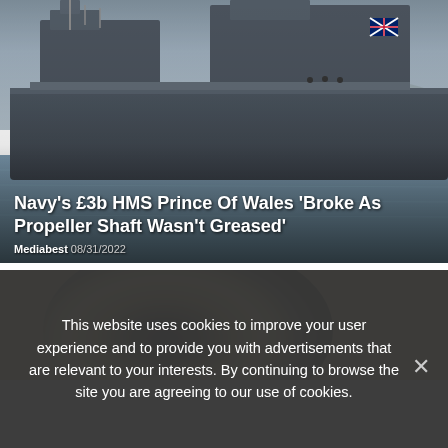[Figure (photo): Photograph of a large naval aircraft carrier (HMS Prince of Wales) at sea, grey warship hull visible with a Union Jack flag in the background, overcast sky]
Navy's £3b HMS Prince Of Wales 'Broke As Propeller Shaft Wasn't Greased'
Mediabest 08/31/2022
[Figure (photo): Partial photograph with a dark circular blur against a light beige/gold background, possibly a zoomed out or blurred image]
This website uses cookies to improve your user experience and to provide you with advertisements that are relevant to your interests. By continuing to browse the site you are agreeing to our use of cookies.